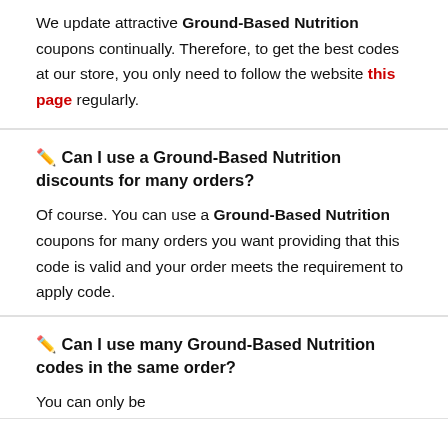We update attractive Ground-Based Nutrition coupons continually. Therefore, to get the best codes at our store, you only need to follow the website this page regularly.
✏️ Can I use a Ground-Based Nutrition discounts for many orders?
Of course. You can use a Ground-Based Nutrition coupons for many orders you want providing that this code is valid and your order meets the requirement to apply code.
✏️ Can I use many Ground-Based Nutrition codes in the same order?
You can only be...